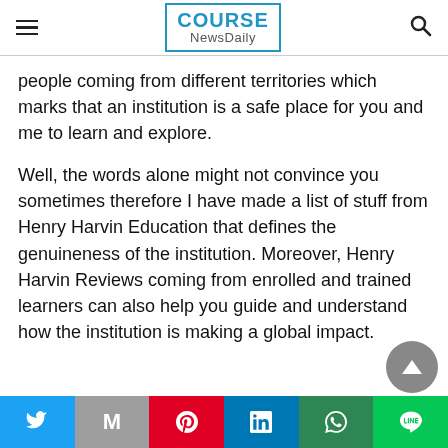COURSE NewsDaily
people coming from different territories which marks that an institution is a safe place for you and me to learn and explore.
Well, the words alone might not convince you sometimes therefore I have made a list of stuff from Henry Harvin Education that defines the genuineness of the institution. Moreover, Henry Harvin Reviews coming from enrolled and trained learners can also help you guide and understand how the institution is making a global impact.